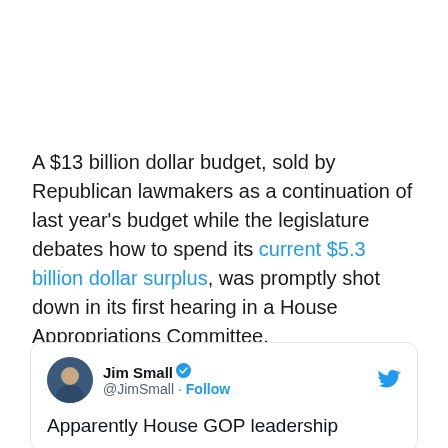A $13 billion dollar budget, sold by Republican lawmakers as a continuation of last year's budget while the legislature debates how to spend its current $5.3 billion dollar surplus, was promptly shot down in its first hearing in a House Appropriations Committee.
[Figure (screenshot): Tweet card from Jim Small (@JimSmall) with verified badge and Follow button, Twitter bird logo top right. Tweet begins: 'Apparently House GOP leadership']